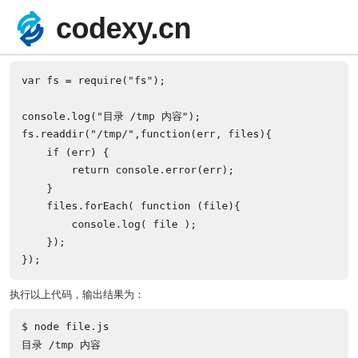codexy.cn
var fs = require("fs");

console.log("目录 /tmp 内容");
fs.readdir("/tmp/",function(err, files){
    if (err) {
        return console.error(err);
    }
    files.forEach( function (file){
        console.log( file );
    });
});
执行以上代码，输出结果为：
$ node file.js
目录 /tmp 内容
input.out
output.out
test
test.txt